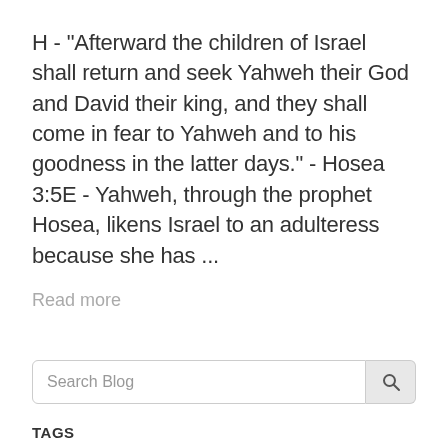H - "Afterward the children of Israel shall return and seek Yahweh their God and David their king, and they shall come in fear to Yahweh and to his goodness in the latter days." - Hosea 3:5E - Yahweh, through the prophet Hosea, likens Israel to an adulteress because she has ...
Read more
[Figure (screenshot): Search blog input box with search icon button]
TAGS
Biblical Worldview
End Times